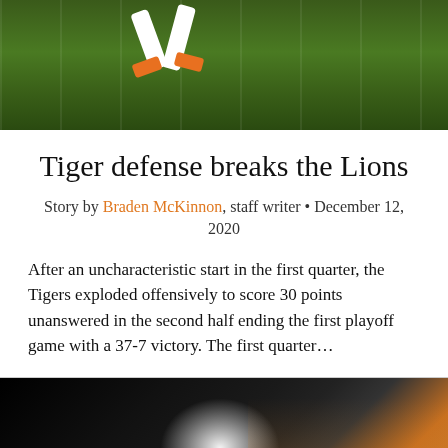[Figure (photo): Football player's legs mid-run on a green turf field, wearing orange cleats]
Tiger defense breaks the Lions
Story by Braden McKinnon, staff writer • December 12, 2020
After an uncharacteristic start in the first quarter, the Tigers exploded offensively to score 30 points unanswered in the second half ending the first playoff game with a 37-7 victory. The first quarter…
[Figure (photo): Crowd of fans celebrating at a night football game, bright spotlight visible]